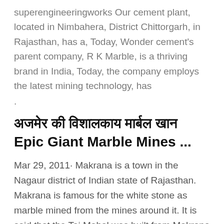superengineeringworks Our cement plant, located in Nimbahera, District Chittorgarh, in Rajasthan, has a, Today, Wonder cement's parent company, R K Marble, is a thriving brand in India, Today, the company employs the latest mining technology, has
.
अजमेर की विशालकाय मार्बल खान Epic Giant Marble Mines ...
Mar 29, 2011· Makrana is a town in the Nagaur district of Indian state of Rajasthan. Makrana is famous for the white stone as marble mined from the mines around it. It is said that the Taj Mahal was built from Makrana marble. Makrana is a small town, but it has plenty of marble outcrops. Most of the residents in this town...